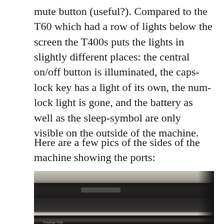mute button (useful?). Compared to the T60 which had a row of lights below the screen the T400s puts the lights in slightly different places: the central on/off button is illuminated, the caps-lock key has a light of its own, the num-lock light is gone, and the battery as well as the sleep-symbol are only visible on the outside of the machine.
Here are a few pics of the sides of the machine showing the ports:
[Figure (photo): Photograph of the side of a ThinkPad T400 laptop showing the ports and edge of the machine. The image is dark/black showing the laptop's edge, with a silver label visible and the bottom showing another strip.]